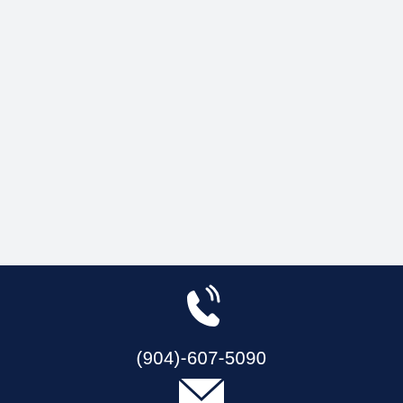[Figure (illustration): Light gray background top section, blank]
[Figure (illustration): Phone icon (white telephone handset with signal waves) on dark navy background]
(904)-607-5090
[Figure (illustration): Envelope/mail icon (white) on dark navy background]